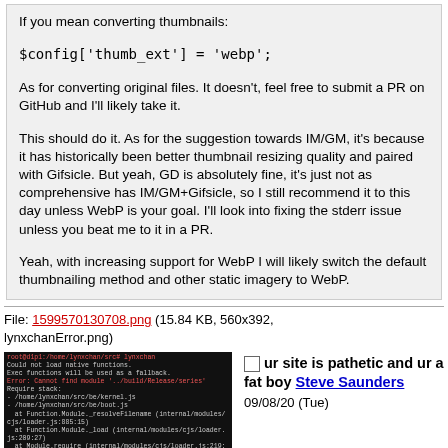If you mean converting thumbnails:
$config['thumb_ext'] = 'webp';
As for converting original files. It doesn't, feel free to submit a PR on GitHub and I'll likely take it.
This should do it. As for the suggestion towards IM/GM, it's because it has historically been better thumbnail resizing quality and paired with Gifsicle. But yeah, GD is absolutely fine, it's just not as comprehensive has IM/GM+Gifsicle, so I still recommend it to this day unless WebP is your goal. I'll look into fixing the stderr issue unless you beat me to it in a PR.
Yeah, with increasing support for WebP I will likely switch the default thumbnailing method and other static imagery to WebP.
File: 1599570130708.png (15.84 KB, 560x392, lynxchanError.png)
[Figure (screenshot): Terminal screenshot showing a Node.js/LynxChan error with stack trace on dark background]
ur site is pathetic and ur a fat boy Steve Saunders 09/08/20 (Tue)